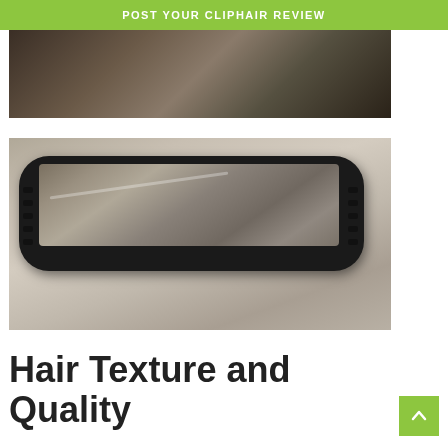POST YOUR CLIPHAIR REVIEW
[Figure (photo): Partial top view of a hair straightener or styling tool on a marble/stone surface, dark background]
[Figure (photo): Close-up view of a hair straightener with reflective metallic plates and black plastic body with vents, resting on a marble surface]
Hair Texture and Quality